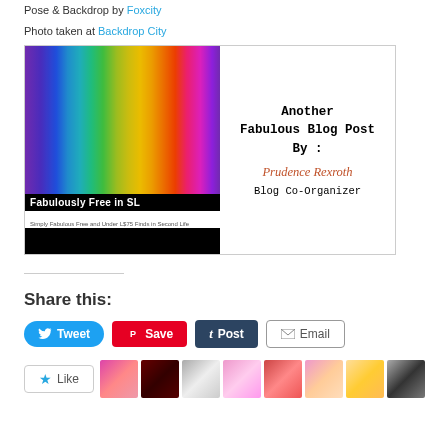Pose & Backdrop by Foxcity
Photo taken at Backdrop City
[Figure (other): Fabulously Free in SL blog badge with rainbow background on left side and text 'Another Fabulous Blog Post By: Prudence Rexroth, Blog Co-Organizer' on right side]
Share this:
Tweet  Save  Post  Email
Like with avatars shown